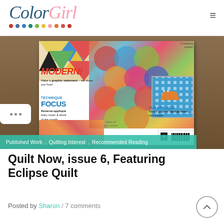Color Girl
[Figure (photo): Magazine cover of 'Quilt Now' issue 6 showing colorful quilts, text MODERN!, TECHNIQUE FOCUS, Reverse-appliqué, FUN APPLIQUÉ, pieced gingham storage boxes, shown resting on outdoor surface]
Published Work, Quilting Interest, Recommended Reading
Quilt Now, issue 6, Featuring Eclipse Quilt
Posted by Sharon / 7 comments